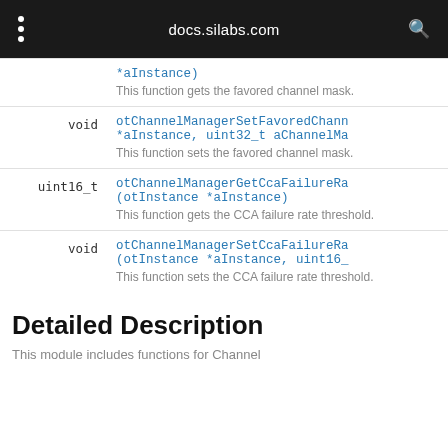docs.silabs.com
| Return Type | Function |
| --- | --- |
|  | *aInstance)
This function gets the favored channel mask. |
| void | otChannelManagerSetFavoredChann...
*aInstance, uint32_t aChannelMa...
This function sets the favored channel mask. |
| uint16_t | otChannelManagerGetCcaFailureRa...
(otInstance *aInstance)
This function gets the CCA failure rate threshold. |
| void | otChannelManagerSetCcaFailureRa...
(otInstance *aInstance, uint16_...
This function sets the CCA failure rate threshold. |
Detailed Description
This module includes functions for Channel...